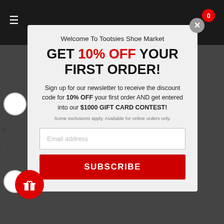Welcome To Tootsies Shoe Market
GET 10% OFF YOUR FIRST ORDER!
Sign up for our newsletter to receive the discount code for 10% OFF your first order AND get entered into our $1000 GIFT CARD CONTEST!
Some exclusions apply. Available for online orders only.
Email address
SUBSCRIBE